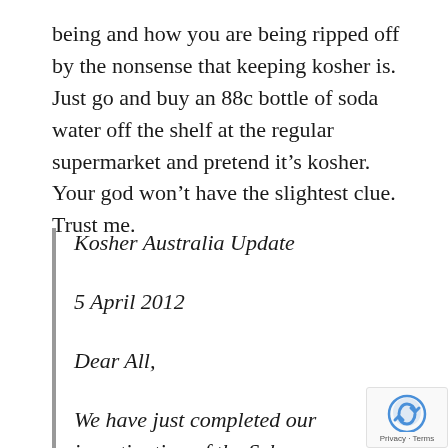being and how you are being ripped off by the nonsense that keeping kosher is.  Just go and buy an 88c bottle of soda water off the shelf at the regular supermarket and pretend it’s kosher.  Your god won’t have the slightest clue.  Trust me.
Kosher Australia Update

5 April 2012

Dear All,

We have just completed our investigation of the Schweppes unflavoured mineral water and soda